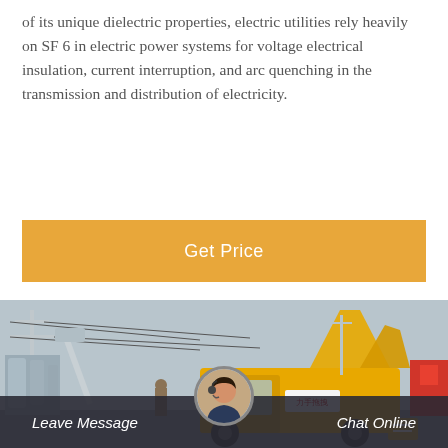of its unique dielectric properties, electric utilities rely heavily on SF 6 in electric power systems for voltage electrical insulation, current interruption, and arc quenching in the transmission and distribution of electricity.
Get Price
[Figure (photo): A yellow utility truck with raised panels/equipment working near high-voltage transmission line infrastructure, with workers on aerial lift equipment visible at a substation or transmission yard.]
Leave Message   Chat Online